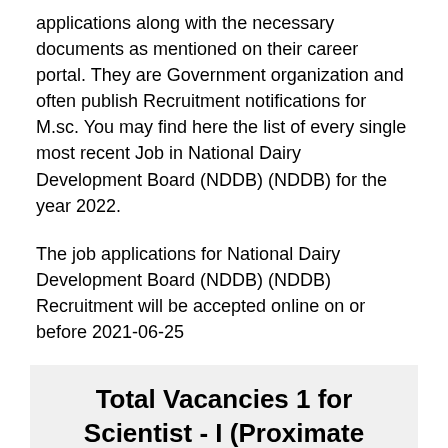applications along with the necessary documents as mentioned on their career portal. They are Government organization and often publish Recruitment notifications for M.sc. You may find here the list of every single most recent Job in National Dairy Development Board (NDDB) (NDDB) for the year 2022.
The job applications for National Dairy Development Board (NDDB) (NDDB) Recruitment will be accepted online on or before 2021-06-25
Total Vacancies 1 for Scientist - I (Proximate Analysis)
Salary for Scientist - I (Proximate Analysis) Vacancies
The National Dairy Development Board (NDDB) Scientist -